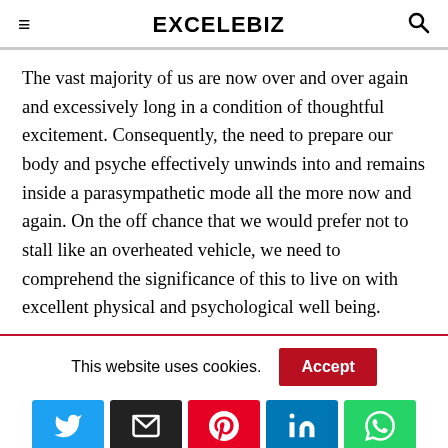EXCELEBIZ
The vast majority of us are now over and over again and excessively long in a condition of thoughtful excitement. Consequently, the need to prepare our body and psyche effectively unwinds into and remains inside a parasympathetic mode all the more now and again. On the off chance that we would prefer not to stall like an overheated vehicle, we need to comprehend the significance of this to live on with excellent physical and psychological well being.
This website uses cookies.
[Figure (infographic): Social share buttons: Twitter (blue), Email (black), Pinterest (red), LinkedIn (blue), WhatsApp (green)]